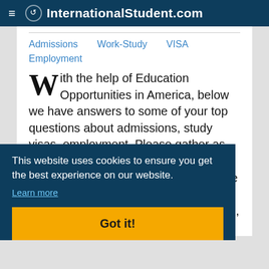InternationalStudent.com
Admissions
Work-Study
VISA
Employment
With the help of Education Opportunities in America, below we have answers to some of your top questions about admissions, study visas, employment. Please gather as much information as needed to get started in the process of studying in the US. If you would like to pursue a work-study program inside the United States, you
This website uses cookies to ensure you get the best experience on our website. Learn more
Got it!